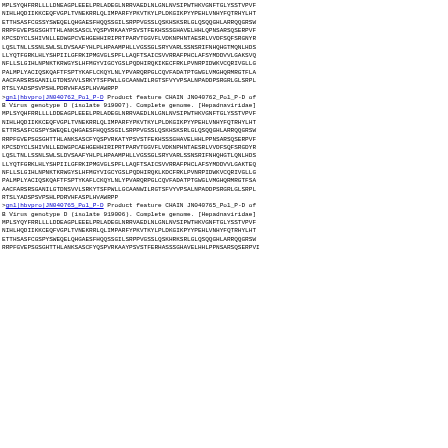MPLSYQHFRRLLLLDNEAGPLEEELPRLADEGLNRRVAEDLNLGNLNVSIPWTHKVGNFTGLYSSTVPVF
NIHLHQDIIKKCEQFVGPLTVNEKRRLQLIMPARFYPKVTKYLPLDKGIKPYYPEHLVNHYFQTRHYLHT
ETTHSASFCGSSYSWEQELQHGAESFHQQSSGILSRPPVGSSLQSKHSKSRLGLQSQQGHLARRQQGRSW
RRPFGVEPSGSGHTTNLANKSASCLYQSPVRKAAYPSVSTFEKHSSSGHAVELHNLQPNSARSQSERPVF
KPCSDYCLSHIVNLLEDWGPCVEHGEHHIRIPRTPARVTGGVFLVDKNPHNTAESRLVVDFSQFSRGNYR
LQSLTNLLSSNLSWLSLDVSAAFYHLPLHPAAMPHLLVGSSGLSRYVARLSSNSRIFNHQHGTMQNLHDS
LLYQTFGRKLHLYSHPIILGFRKIPMGVGLSPFLLAQFTSAICSVVRRAFPHCLAFSYMDDVVLGAKSVQ
NFLLSLGIHLNPNKTKRWGYSLHFMGYVIGCYGSLPQDHIRQKIKECFRKLPVNRPIDWKVCQRIVGLLG
PALMPLYACIQSKQAFTFSPTYKAFLCKQYLNLYPVARQRPGLCQVFADATPTGWGLVMGHQRMRGTFLA
AACFARSRSGANILGTDNSVVLSRKYTSFPWLLGCAANWILRGTSFVYVPSALNPADDPSRGRLGLSRPL
RTSLYADSPSVPSHLPDRVHFASPLHVAWRPP
>gnl|hbvpro|JN040762_Pol_P-D Product feature CHAIN JN040762_Pol_P-D of B Virus genotype D (isolate 919007). Complete genome. [Hepadnaviridae]
MPLSYQHFRRLLLLDDEAGPLEEELPRLADEGLNRRVAEDLNLGNLNVSIPWTHKVGNFTGLYSSTVPVF
NIHLHQDIIKKCEQFVGPLTVNEKRRLQLIMPARFYPKVTKYLPLDKGIKPYYPEHLVNHYFQTRHYLHT
ETTRSASFCGSPYSWEQELQHGAESFHQQSSGILSRPPVGSSLQSKHSKSRLGLQSQQGHLARRQQGRSW
RRPFGVEPSGSGHTTNLANKSASCFYQSPVRKATYPSVSTFEKHSSSGHAVELHNLPPNSARSQSERPVF
KPCSDYCLSHIVNLLEDWGPCAEHGEHHIRIPRTPARVTGGVFLVDKNPHNTAESRLVVDFSQFSRGDYR
LQSLTNLLSSNLSWLSLDVSAAFYHLPLHPAAMPHLLVGSSGLSRYVARLSSNSRIFNHQHGTLQNLHDS
LLYQTFGRKLHLYSHPIILGFRKIPMGVGLSPFLLAQFTSAICSVVRRAFPHCLAFSYMDDVVLGAKTEQ
NFLLSLGIHLNPNKTKRWGYSLHFMGYVIGCYGSLPQDHIRQKLKDCFRKLPVNRPIDWKVCQRIVGLLG
PALMPLYACIQSKQAFTFSPTYKAFLCKQYLNLYPVARQRPGLCQVFADATPTGWGLVMGHQRMRGTFSA
AACFARSRSGANILGTDNSVVLSRKYTSFPWLLGCAANWILRGTSFVYVPSALNPADDPSRGRLGLSRPL
RTSLYADSPSVPSHLPDRVHFASPLHVAWRPP
>gnl|hbvpro|JN040765_Pol_P-D Product feature CHAIN JN040765_Pol_P-D of B Virus genotype D (isolate 919006). Complete genome. [Hepadnaviridae]
MPLSYQYFRRLLLLDDEAGPLEEELPRLADEGLNRRVAEDLNLGNLNVSIPWTHKVGNFTGLYSSTVPVF
NIHLHQDIIKKCEQFVGPLTVNEKRRLQLIMPARFYPKVTKYLPLDKGIKPYYPEHLVNHYFQTRHYLHT
ETTHSASFCGSPYSWEQELQHGAESFHQQSSGILSRPPVGSSLQSKHRKSRLGLQSQQGHLARRQQGRSW
RRPFGVEPSGSGHTTNLANKSASCFYQSPVRKAAYPSVSTFERHASSSGHAVELHNLPPNSARSQSERPVI